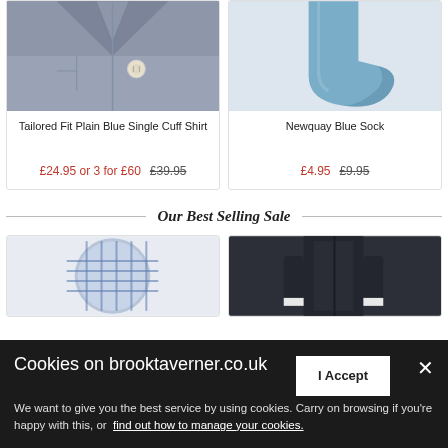[Figure (photo): Close-up of a tailored fit plain blue single cuff shirt showing collar and button detail]
Tailored Fit Plain Blue Single Cuff Shirt
£24.95 or 3 for £60  £39.95
[Figure (photo): Blue sock on white/grey background - Newquay Blue Sock]
Newquay Blue Sock
£4.95  £9.95
Our Best Selling Sale
[Figure (photo): Partial view of a checked/plaid shirt product]
[Figure (photo): Partial view of a dark navy suit/jacket product]
Cookies on brooktaverner.co.uk
I Accept
We want to give you the best service by using cookies. Carry on browsing if you're happy with this, or find out how to manage your cookies.